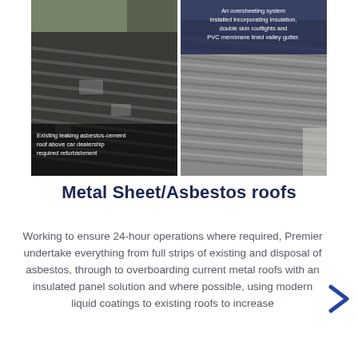[Figure (photo): Before/after comparison of a roof. Left side shows an existing leaking asbestos-cement roof above a car dealership that required refurbishment — dark, deteriorated corrugated surface. Right side shows an oversheeting system installed incorporating insulation, double skin rooflights and PVC membrane lined valley gutter — new grey corrugated metal roof.]
Metal Sheet/Asbestos roofs
Working to ensure 24-hour operations where required, Premier undertake everything from full strips of existing and disposal of asbestos, through to overboarding current metal roofs with an insulated panel solution and where possible, using modern liquid coatings to existing roofs to increase